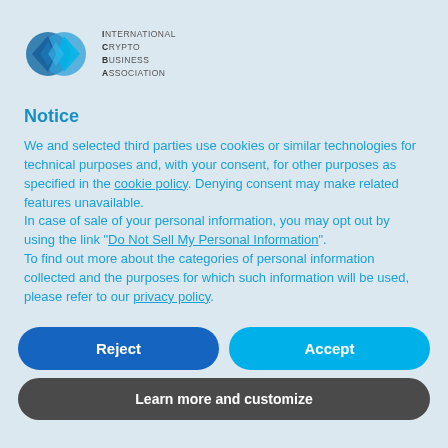[Figure (logo): International Crypto Business Association logo — two overlapping diamond shapes in blue tones with the organization name text to the right]
Notice
We and selected third parties use cookies or similar technologies for technical purposes and, with your consent, for other purposes as specified in the cookie policy. Denying consent may make related features unavailable.
In case of sale of your personal information, you may opt out by using the link "Do Not Sell My Personal Information".
To find out more about the categories of personal information collected and the purposes for which such information will be used, please refer to our privacy policy.